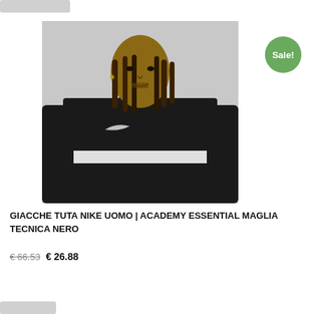[Figure (photo): Man wearing a black Nike Academy Essential technical zip-up training top with white chest stripe and Nike swoosh logo, posed against a light grey background.]
GIACCHE TUTA NIKE UOMO | ACADEMY ESSENTIAL MAGLIA TECNICA NERO
€ 66.53 € 26.88